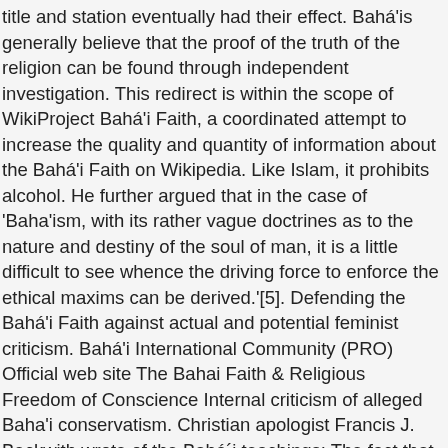title and station eventually had their effect. Bahá'is generally believe that the proof of the truth of the religion can be found through independent investigation. This redirect is within the scope of WikiProject Bahá'i Faith, a coordinated attempt to increase the quality and quantity of information about the Bahá'i Faith on Wikipedia. Like Islam, it prohibits alcohol. He further argued that in the case of 'Baha'ism, with its rather vague doctrines as to the nature and destiny of the soul of man, it is a little difficult to see whence the driving force to enforce the ethical maxims can be derived.'[5]. Defending the Bahá'i Faith against actual and potential feminist criticism. Bahá'i International Community (PRO) Official web site The Bahai Faith & Religious Freedom of Conscience Internal criticism of alleged Baha'i conservatism. Christian apologist Francis J. Beckwith wrote of the Bahá´i teachings: The fact that the various alleged manifestations of God represented God in contradictory ways implies either that manifestations of God can contradict one another or that God's own nature is contradictory. Baha'i criticisms